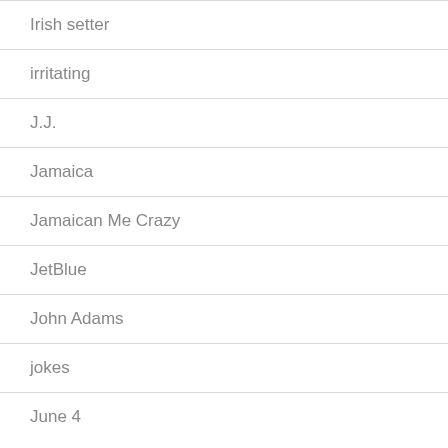Irish setter
irritating
J.J.
Jamaica
Jamaican Me Crazy
JetBlue
John Adams
jokes
June 4